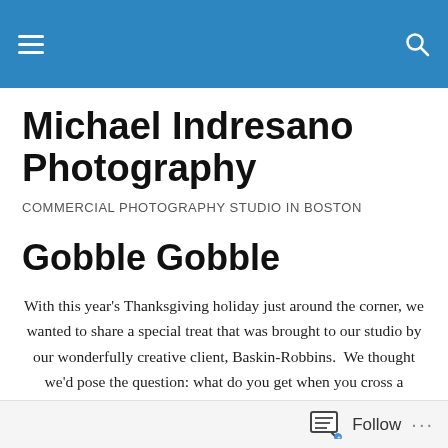Michael Indresano Photography — navigation header with hamburger menu and search icon
Michael Indresano Photography
COMMERCIAL PHOTOGRAPHY STUDIO IN BOSTON
Gobble Gobble
With this year's Thanksgiving holiday just around the corner, we wanted to share a special treat that was brought to our studio by our wonderfully creative client, Baskin-Robbins.  We thought we'd pose the question: what do you get when you cross a seasonal bird and a
Follow